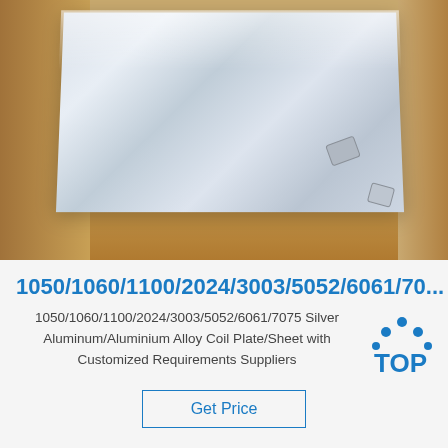[Figure (photo): Photo of silver aluminum/aluminium alloy coil plate/sheet stacked inside brown cardboard packaging with silica gel packets visible]
1050/1060/1100/2024/3003/5052/6061/70...
1050/1060/1100/2024/3003/5052/6061/7075 Silver Aluminum/Aluminium Alloy Coil Plate/Sheet with Customized Requirements Suppliers
Get Price